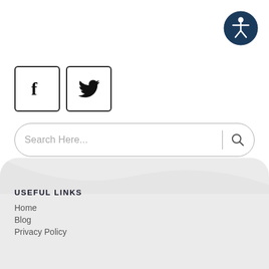[Figure (illustration): Accessibility icon button — dark navy circle with white wheelchair/person accessibility symbol]
[Figure (illustration): Facebook icon in a square bordered box]
[Figure (illustration): Twitter bird icon in a square bordered box]
Search Here...
USEFUL LINKS
Home
Blog
Privacy Policy